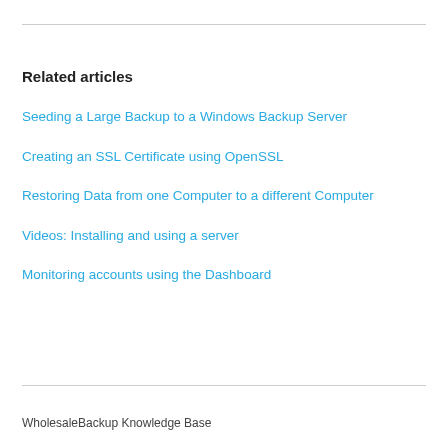Related articles
Seeding a Large Backup to a Windows Backup Server
Creating an SSL Certificate using OpenSSL
Restoring Data from one Computer to a different Computer
Videos: Installing and using a server
Monitoring accounts using the Dashboard
WholesaleBackup Knowledge Base